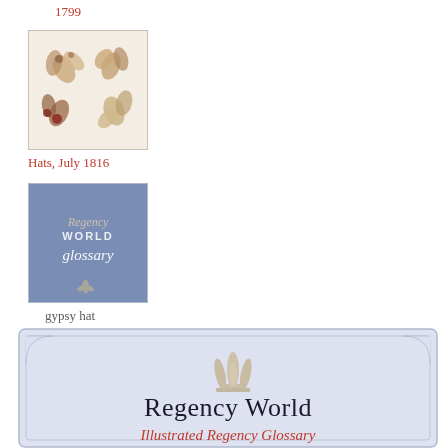1799
[Figure (illustration): Illustration of decorative hats or hair ornaments from 1799, showing feather and floral embellishments on a cream/beige background]
Hats, July 1816
[Figure (illustration): Blue background image showing 'Regency World glossary' text in cursive script with a fleur-de-lis emblem]
gypsy hat
[Figure (illustration): Large banner with light blue/lavender background, notched corners, Prince of Wales feathers emblem, 'Regency World' title, and 'Illustrated Regency Glossary' subtitle in red italic text]